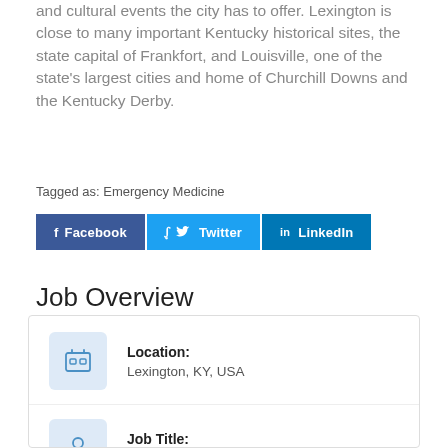and cultural events the city has to offer. Lexington is close to many important Kentucky historical sites, the state capital of Frankfort, and Louisville, one of the state's largest cities and home of Churchill Downs and the Kentucky Derby.
Tagged as: Emergency Medicine
[Figure (other): Social sharing buttons: Facebook, Twitter, LinkedIn]
Job Overview
Location: Lexington, KY, USA
Job Title: Emergency Medicine Medical Director –